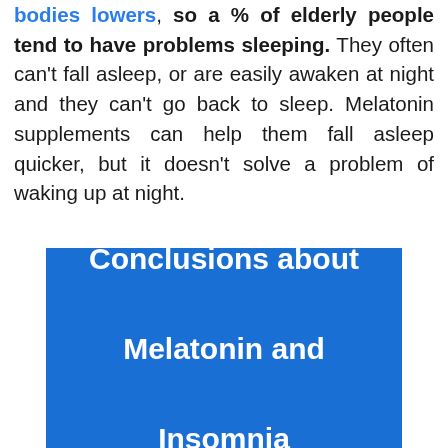bodies lowers, so a % of elderly people tend to have problems sleeping. They often can't fall asleep, or are easily awaken at night and they can't go back to sleep. Melatonin supplements can help them fall asleep quicker, but it doesn't solve a problem of waking up at night.
Conclusions about Melatonin and Insomnia